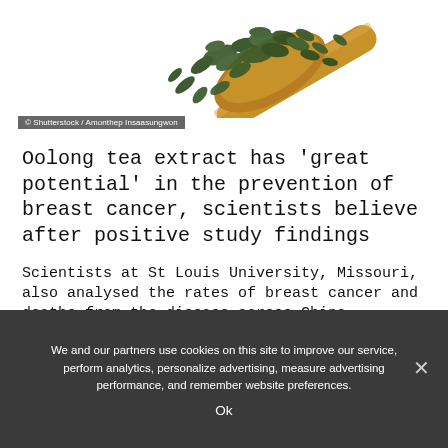[Figure (photo): A wooden scoop filled with dark oolong tea leaves spilling onto a white background, photographed from above at an angle.]
© Shutterstock / Amonthep Insaasungwon
Oolong tea extract has 'great potential' in the prevention of breast cancer, scientists believe after positive study findings
Scientists at St Louis University, Missouri, also analysed the rates of breast cancer and deaths from the disease across China.
Their analysis found regions with high oolong tea consumption had generally lower rates of the disease.
We and our partners use cookies on this site to improve our service, perform analytics, personalize advertising, measure advertising performance, and remember website preferences.
Ok